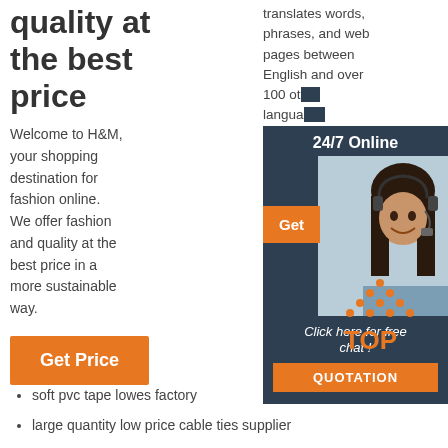quality at the best price
Welcome to H&M, your shopping destination for fashion online. We offer fashion and quality at the best price in a more sustainable way.
Get Price
translates words, phrases, and web pages between English and over 100 other languages
[Figure (infographic): Chat widget with dark blue background, woman with headset, 24/7 Online header, Get button in orange, Click here for free chat! text, QUOTATION orange button]
[Figure (infographic): TOP icon with orange dotted triangle above orange text TOP]
soft pvc tape lowes factory
large quantity low price cable ties supplier